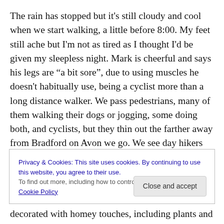The rain has stopped but it's still cloudy and cool when we start walking, a little before 8:00. My feet still ache but I'm not as tired as I thought I'd be given my sleepless night. Mark is cheerful and says his legs are “a bit sore”, due to using muscles he doesn't habitually use, being a cyclist more than a long distance walker. We pass pedestrians, many of them walking their dogs or jogging, some doing both, and cyclists, but they thin out the farther away from Bradford on Avon we go. We see day hikers but no other thru hikers.
Privacy & Cookies: This site uses cookies. By continuing to use this website, you agree to their use.
To find out more, including how to control cookies, see here: Cookie Policy
Close and accept
decorated with homey touches, including plants and